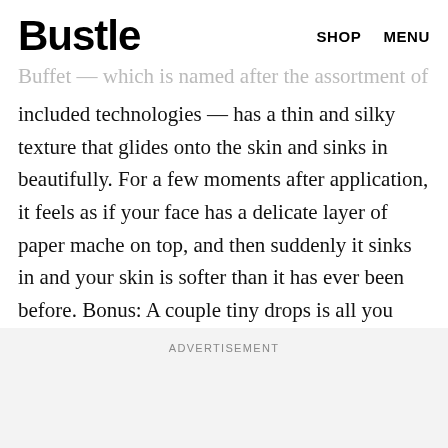Bustle  SHOP  MENU
Buffet — which is named after the assortment of included technologies — has a thin and silky texture that glides onto the skin and sinks in beautifully. For a few moments after application, it feels as if your face has a delicate layer of paper mache on top, and then suddenly it sinks in and your skin is softer than it has ever been before. Bonus: A couple tiny drops is all you need, so it will last a long time.
ADVERTISEMENT